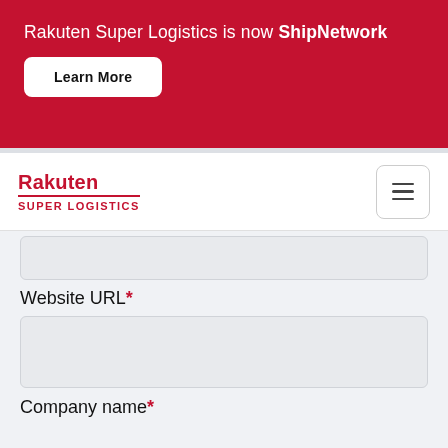Rakuten Super Logistics is now ShipNetwork
Learn More
[Figure (logo): Rakuten Super Logistics logo with red text and hamburger menu icon]
Website URL*
Company name*
Monthly Order Volume*
Please Select